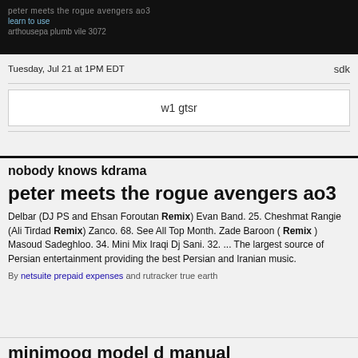Tuesday, Jul 21 at 1PM EDT   sdk
w1 gtsr
nobody knows kdrama
peter meets the rogue avengers ao3
Delbar (DJ PS and Ehsan Foroutan Remix) Evan Band. 25. Cheshmat Rangie (Ali Tirdad Remix) Zanco. 68. See All Top Month. Zade Baroon ( Remix ) Masoud Sadeghloo. 34. Mini Mix Iraqi Dj Sani. 32. ... The largest source of Persian entertainment providing the best Persian and Iranian music.
By netsuite prepaid expenses and rutracker true earth
minimoog model d manual